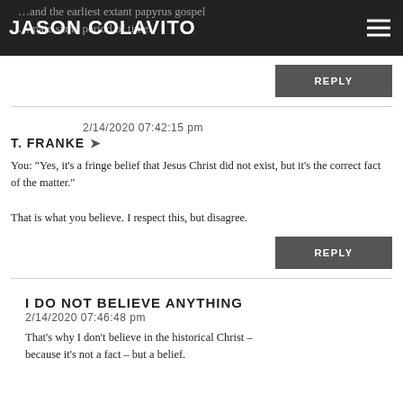JASON COLAVITO — …and the earliest extant papyrus gospel …mate same period of time.
REPLY
T. FRANKE ➤  2/14/2020 07:42:15 pm
You: "Yes, it's a fringe belief that Jesus Christ did not exist, but it's the correct fact of the matter."

That is what you believe. I respect this, but disagree.
REPLY
I DO NOT BELIEVE ANYTHING
2/14/2020 07:46:48 pm
That's why I don't believe in the historical Christ – because it's not a fact – but a belief.